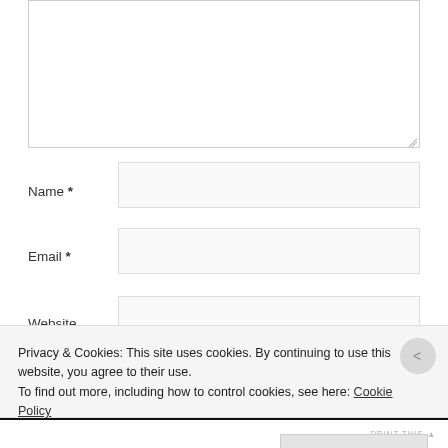[Figure (screenshot): Web form textarea (comment box) with resize handle, partially visible at top of page]
Name *
[Figure (screenshot): Name input field (text box)]
Email *
[Figure (screenshot): Email input field (text box)]
Website
[Figure (screenshot): Website input field (text box, partially visible)]
Privacy & Cookies: This site uses cookies. By continuing to use this website, you agree to their use.
To find out more, including how to control cookies, see here: Cookie Policy
Close and accept
PRINT THIS ▲